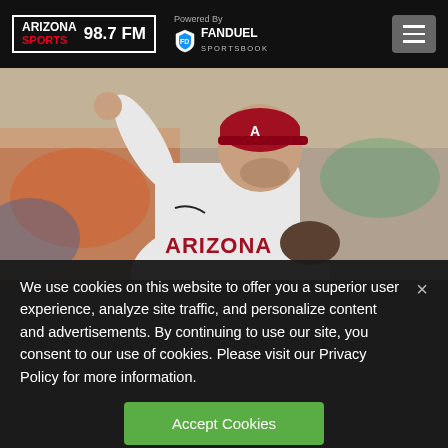Arizona Sports 98.7 FM — Powered By FanDuel Sportsbook
[Figure (photo): Arizona Diamondbacks pitcher in white uniform with red 'ARIZONA' text, wearing red diamond-logo cap, winding up to throw a pitch. Blurred crowd visible in background.]
We use cookies on this website to offer you a superior user experience, analyze site traffic, and personalize content and advertisements. By continuing to use our site, you consent to our use of cookies. Please visit our Privacy Policy for more information.
Accept Cookies